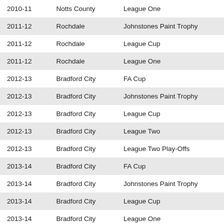| 2010-11 | Notts County | League One |
| 2011-12 | Rochdale | Johnstones Paint Trophy |
| 2011-12 | Rochdale | League Cup |
| 2011-12 | Rochdale | League One |
| 2012-13 | Bradford City | FA Cup |
| 2012-13 | Bradford City | Johnstones Paint Trophy |
| 2012-13 | Bradford City | League Cup |
| 2012-13 | Bradford City | League Two |
| 2012-13 | Bradford City | League Two Play-Offs |
| 2013-14 | Bradford City | FA Cup |
| 2013-14 | Bradford City | Johnstones Paint Trophy |
| 2013-14 | Bradford City | League Cup |
| 2013-14 | Bradford City | League One |
| 2014-15 | Bradford City | FA Cup |
| 2014-15 | Bradford City | Johnstones Paint Trophy |
| 2014-15 | Bradford City | League Cup |
| 2014-15 | Bradford City | League One |
| 2015-16 | Bradford City | FA Cup |
| 2015-16 | Bradford City | Johnstones Paint Trophy |
| 2015-16 | Bradford City | League One |
| 2015-16 | Bradford City | League One Play-Offs |